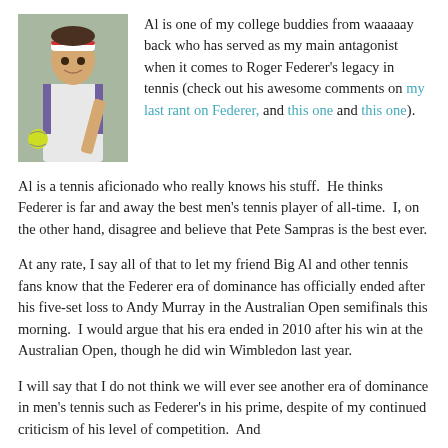[Figure (photo): Photo of Roger Federer in white tennis outfit holding a tennis racket, with a yellow tennis ball visible]
Al is one of my college buddies from waaaaay back who has served as my main antagonist when it comes to Roger Federer's legacy in tennis (check out his awesome comments on my last rant on Federer, and this one and this one).
Al is a tennis aficionado who really knows his stuff.  He thinks Federer is far and away the best men's tennis player of all-time.  I, on the other hand, disagree and believe that Pete Sampras is the best ever.
At any rate, I say all of that to let my friend Big Al and other tennis fans know that the Federer era of dominance has officially ended after his five-set loss to Andy Murray in the Australian Open semifinals this morning.  I would argue that his era ended in 2010 after his win at the Australian Open, though he did win Wimbledon last year.
I will say that I do not think we will ever see another era of dominance in men's tennis such as Federer's in his prime, despite of my continued criticism of his level of competition.  And